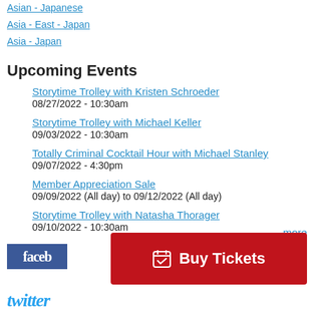Asian - Japanese
Asia - East - Japan
Asia - Japan
Upcoming Events
Storytime Trolley with Kristen Schroeder
08/27/2022 - 10:30am
Storytime Trolley with Michael Keller
09/03/2022 - 10:30am
Totally Criminal Cocktail Hour with Michael Stanley
09/07/2022 - 4:30pm
Member Appreciation Sale
09/09/2022 (All day) to 09/12/2022 (All day)
Storytime Trolley with Natasha Thorager
09/10/2022 - 10:30am
more
[Figure (logo): Facebook logo badge]
[Figure (other): Buy Tickets button with calendar icon]
[Figure (logo): Twitter logo text]